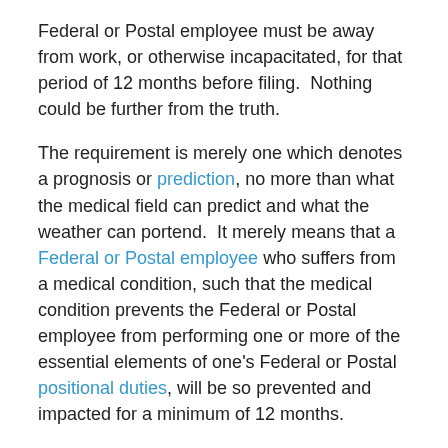Federal or Postal employee must be away from work, or otherwise incapacitated, for that period of 12 months before filing.  Nothing could be further from the truth.
The requirement is merely one which denotes a prognosis or prediction, no more than what the medical field can predict and what the weather can portend.  It merely means that a Federal or Postal employee who suffers from a medical condition, such that the medical condition prevents the Federal or Postal employee from performing one or more of the essential elements of one's Federal or Postal positional duties, will be so prevented and impacted for a minimum of 12 months.
Any doctor worth his or her salt can provide a prognosis of how long the medical condition will last, and whether or not such a prognosis is as accurate as the 10-day forecast